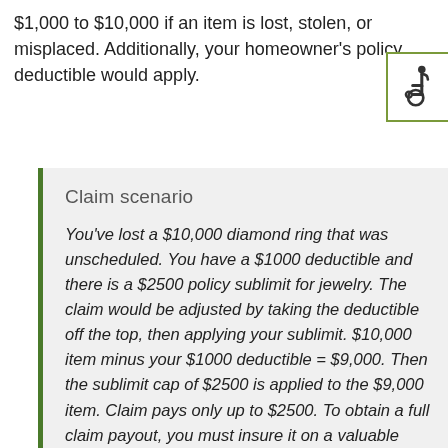$1,000 to $10,000 if an item is lost, stolen, or misplaced. Additionally, your homeowner's policy deductible would apply.
[Figure (illustration): Accessibility wheelchair icon inside a green-bordered box]
Claim scenario
You've lost a $10,000 diamond ring that was unscheduled. You have a $1000 deductible and there is a $2500 policy sublimit for jewelry. The claim would be adjusted by taking the deductible off the top, then applying your sublimit. $10,000 item minus your $1000 deductible = $9,000. Then the sublimit cap of $2500 is applied to the $9,000 item. Claim pays only up to $2500. To obtain a full claim payout, you must insure it on a valuable article policy